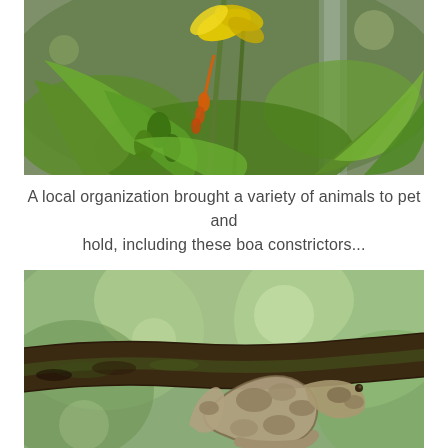[Figure (photo): Close-up photograph of green tropical plants and yellow flowers with blurred background, outdoors in natural light.]
A local organization brought a variety of animals to pet and hold, including these boa constrictors...
[Figure (photo): Photograph of a boa constrictor snake coiled on a dark tree branch with blurred green foliage in the background.]